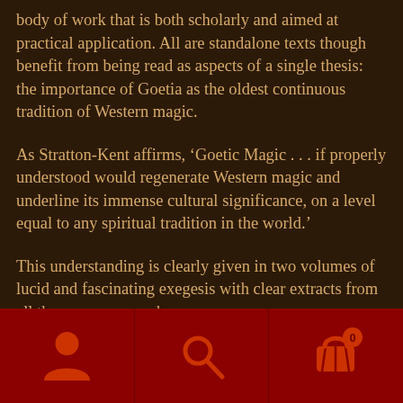body of work that is both scholarly and aimed at practical application. All are standalone texts though benefit from being read as aspects of a single thesis: the importance of Goetia as the oldest continuous tradition of Western magic.
As Stratton-Kent affirms, ‘Goetic Magic . . . if properly understood would regenerate Western magic and underline its immense cultural significance, on a level equal to any spiritual tradition in the world.’
This understanding is clearly given in two volumes of lucid and fascinating exegesis with clear extracts from all the necessary works.
[Figure (other): Mobile navigation bar with three icons: user/person icon, search/magnifying glass icon, and shopping cart icon with badge showing '0']